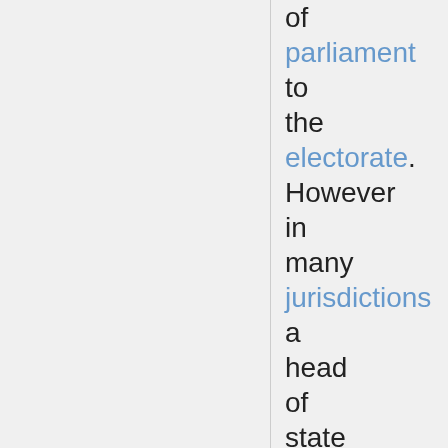of parliament to the electorate. However in many jurisdictions a head of state may refuse a